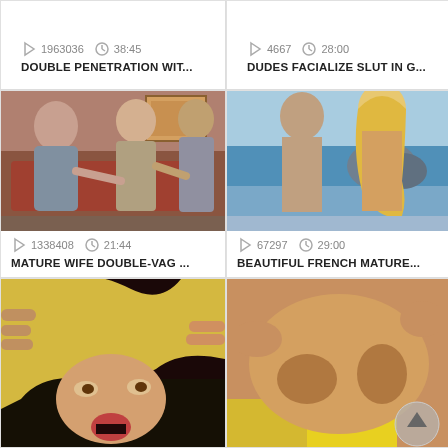1963036   38:45
DOUBLE PENETRATION WIT...
4667   28:00
DUDES FACIALIZE SLUT IN G...
[Figure (photo): Video thumbnail showing indoor scene with multiple people on a couch]
1338408   21:44
MATURE WIFE DOUBLE-VAG ...
[Figure (photo): Video thumbnail showing outdoor beach scene with two people]
67297   29:00
BEAUTIFUL FRENCH MATURE...
[Figure (photo): Video thumbnail showing close-up of a woman with blonde hair]
[Figure (photo): Video thumbnail showing close-up adult content with yellow fabric visible]